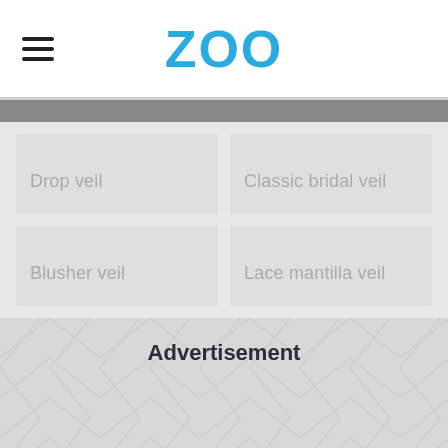ZOO
Drop veil
Classic bridal veil
Blusher veil
Lace mantilla veil
Advertisement